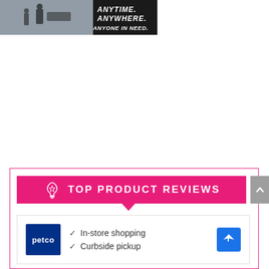[Figure (photo): Advertisement banner with dark background showing people with cargo and text 'ANYTIME. ANYWHERE. ANYONE IN NEED.']
TOP PRODUCT REVIEWS
[Figure (photo): Petco advertisement card showing In-store shopping and Curbside pickup options with Petco logo and directions icon]